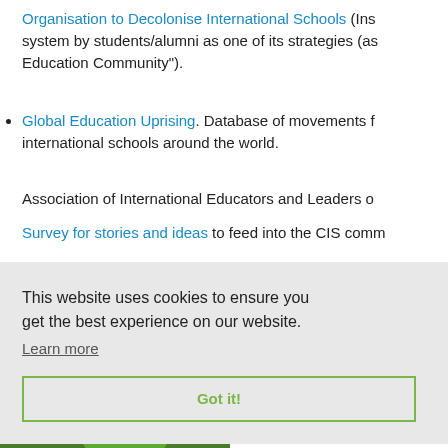Organisation to Decolonise International Schools (Ins... system by students/alumni as one of its strategies (as... Education Community").
Global Education Uprising. Database of movements f... international schools around the world.
Association of International Educators and Leaders o...
Survey for stories and ideas to feed into the CIS comm...
This website uses cookies to ensure you get the best experience on our website. Learn more
Got it!
nthropо onal Sch rch Fello Researc ransition